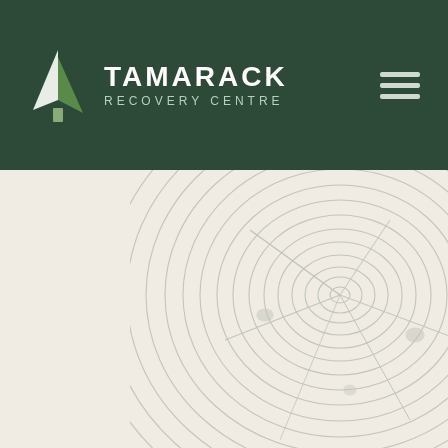[Figure (logo): Tamarack Recovery Centre logo: dark green header bar with a stylized tree icon (white and green triangles forming a pine tree) and bold white text 'TAMARACK' with subtitle 'RECOVERY CENTRE', plus a hamburger menu icon on the right]
[Figure (illustration): Faded grey illustration of a cross-section of a tree trunk showing concentric wood grain rings, positioned in the lower-right of the page on a warm off-white/cream background]